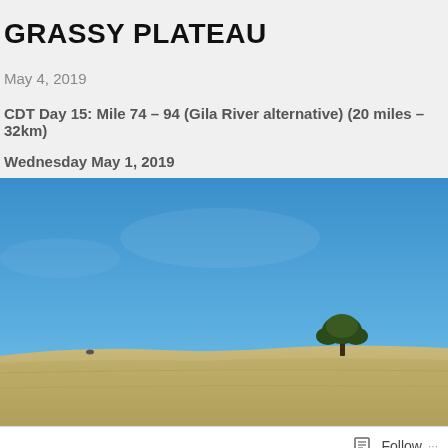GRASSY PLATEAU
May 4, 2019
CDT Day 15: Mile 74 – 94 (Gila River alternative) (20 miles – 32km)
Wednesday May 1, 2019
[Figure (photo): A grassy plateau landscape with a large blue sky and a single tree on the horizon line, with dry golden-brown grassland in the foreground.]
Follow